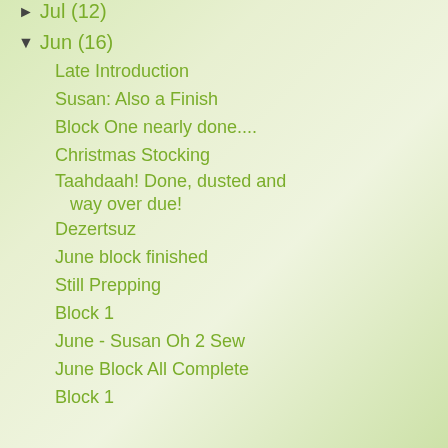are cut and lay...
► Jul (12)
▼ Jun (16)
Late Introduction
Susan: Also a Finish
Block One nearly done....
Christmas Stocking
Taahdaah! Done, dusted and way over due!
Dezertsuz
June block finished
Still Prepping
Block 1
June - Susan Oh 2 Sew
June Block All Complete
Block 1
I also need a b... the plan exact...
Posted by Nare...
Labels: A Holly...